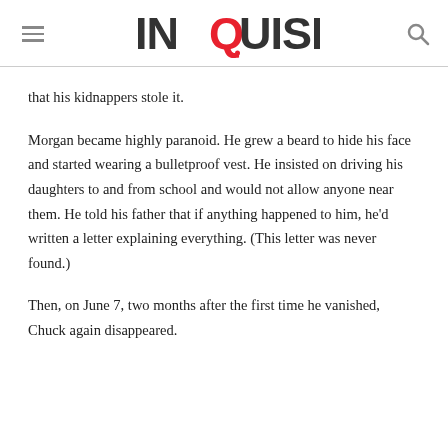INQUISITR
that his kidnappers stole it.
Morgan became highly paranoid. He grew a beard to hide his face and started wearing a bulletproof vest. He insisted on driving his daughters to and from school and would not allow anyone near them. He told his father that if anything happened to him, he'd written a letter explaining everything. (This letter was never found.)
Then, on June 7, two months after the first time he vanished, Chuck again disappeared.